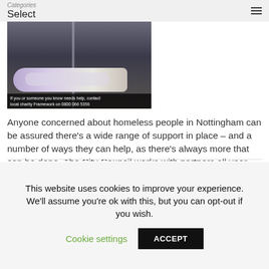Categories  Select
[Figure (photo): A person sleeping rough in a doorway covered with purple and white blankets/sheets. Overlaid text reads: 'If you or someone you know needs help, contact local charity Framework on 0800 066 5356']
Anyone concerned about homeless people in Nottingham can be assured there's a wide range of support in place – and a number of ways they can help, as there's always more that can be done. The City Council works with partners all year round to try to prevent people becoming homeless and provide help if [...]
Read More
This website uses cookies to improve your experience. We'll assume you're ok with this, but you can opt-out if you wish.
Cookie settings
ACCEPT